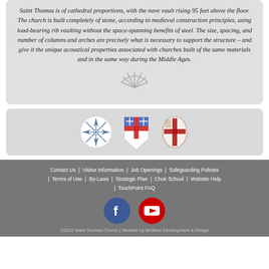Saint Thomas is of cathedral proportions, with the nave vault rising 95 feet above the floor. The church is built completely of stone, according to medieval construction principles, using load-bearing rib vaulting without the space-spanning benefits of steel. The size, spacing, and number of columns and arches are precisely what is necessary to support the structure – and give it the unique acoustical properties associated with churches built of the same materials and in the same way during the Middle Ages.
[Figure (illustration): Decorative fan/shell-shaped divider icon in gray]
[Figure (logo): Three logos: compass rose logo, Episcopal shield cross logo, and diocesan shield logo]
Contact Us | Visitor Information | Job Openings | Safeguarding Policies | Terms of Use | By-Laws | Strategic Plan | Choir School | Website Help | TouchPoint FAQ
[Figure (logo): Facebook and YouTube social media icons]
©2019 Saint Thomas Church | Website by Birdhive Development & Design